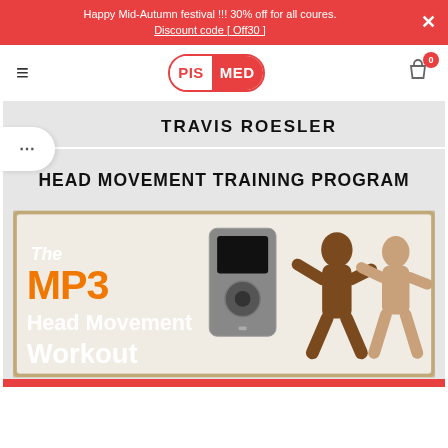Happy Mid-Autumn festival !!! 30% off for all coures. Discount code [ Off30 ]
[Figure (logo): PIS|MED logo in red and white with rounded rectangle border]
TRAVIS ROESLER
HEAD MOVEMENT TRAINING PROGRAM
[Figure (illustration): MP3 Head Movement Workout product image showing two fighters and an MP3 player with orange and white stylized text]